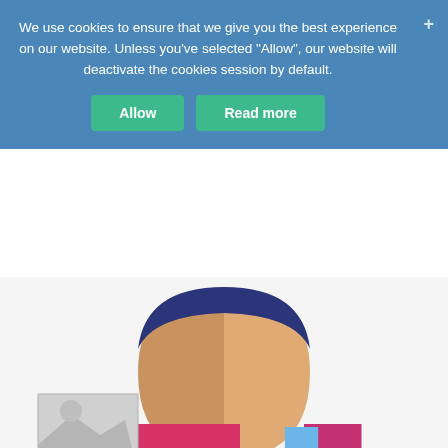We use cookies to ensure that we give you the best experience on our website. Unless you've selected "Allow", our website will deactivate the cookies session by default.
[Figure (illustration): Flat-style illustration of a person (avatar) wearing a light blue shirt, with brown skin, dark blue hair, and decorative pink/magenta rectangles on either side. A blue bracket-like shape overlays the right side of the face. A small gray/white image placeholder icon appears in the lower left.]